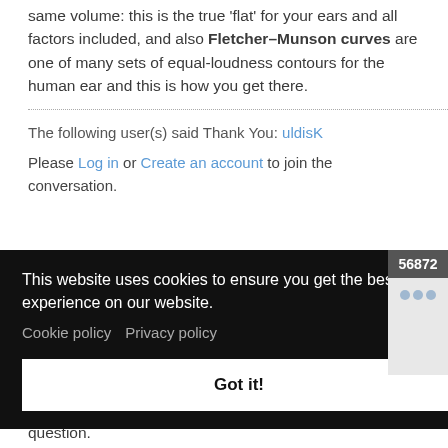same volume: this is the true 'flat' for your ears and all factors included, and also Fletcher–Munson curves are one of many sets of equal-loudness contours for the human ear and this is how you get there.
The following user(s) said Thank You: uldisK
Please Log in or Create an account to join the conversation.
This website uses cookies to ensure you get the best experience on our website. Cookie policy  Privacy policy
Got it!
56872
question.